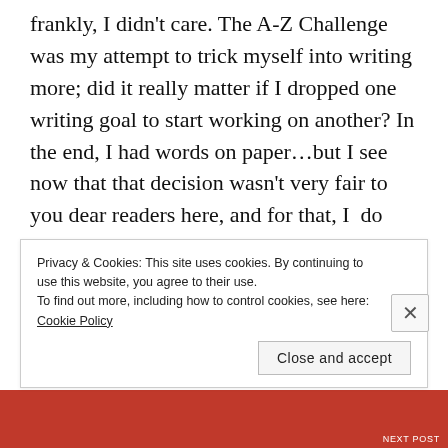frankly, I didn't care. The A-Z Challenge was my attempt to trick myself into writing more; did it really matter if I dropped one writing goal to start working on another? In the end, I had words on paper…but I see now that that decision wasn't very fair to you dear readers here, and for that, I  do apologize.
So now, I'm back! And I have plans! I am hoping to start posting here regularly on Wednesdays to share a bit of myself with you in whatever form that happens to
Privacy & Cookies: This site uses cookies. By continuing to use this website, you agree to their use.
To find out more, including how to control cookies, see here: Cookie Policy
Close and accept